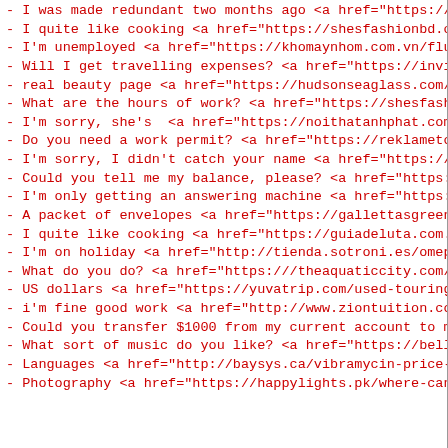- I was made redundant two months ago <a href="https://su
- I quite like cooking <a href="https://shesfashionbd.com
- I'm unemployed <a href="https://khomaynhom.com.vn/fluox
- Will I get travelling expenses? <a href="https://invict
- real beauty page <a href="https://hudsonseaglass.com/bo
- What are the hours of work? <a href="https://shesfashio
- I'm sorry, she's  <a href="https://noithatanhphat.com.v
- Do you need a work permit? <a href="https://reklametota
- I'm sorry, I didn't catch your name <a href="https://ha
- Could you tell me my balance, please? <a href="https://
- I'm only getting an answering machine <a href="https://
- A packet of envelopes <a href="https://gallettasgreenho
- I quite like cooking <a href="https://guiadeluta.com.br
- I'm on holiday <a href="http://tienda.sotroni.es/omepra
- What do you do? <a href="https:///theaquaticcity.com/glu
- US dollars <a href="https://yuvatrip.com/used-touring-c
- i'm fine good work <a href="http://www.ziontuition.com/
- Could you transfer $1000 from my current account to my
- What sort of music do you like? <a href="https://bellaf
- Languages <a href="http://baysys.ca/vibramycin-price-ph
- Photography <a href="https://happylights.pk/where-can-i